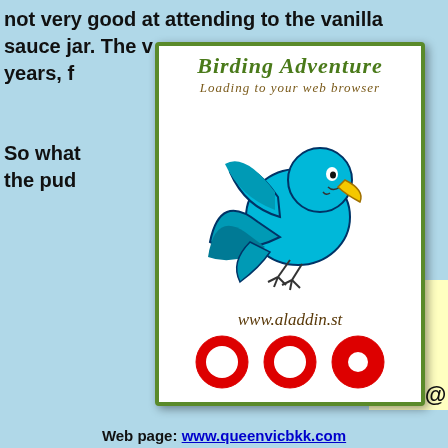not very good at attending to the vanilla sauce jar. The v... years, f... ...d in Thaila...
So what... ...?? Much b... the pud...
[Figure (illustration): Birding Adventure popup card with a blue cartoon bird flying, olive green border, title 'Birding Adventure' in italic serif, subtitle 'Loading to your web browser', URL www.aladdin.st in cursive, and three red ring/donut shapes at the bottom.]
toria @
Web page: www.queenvicbkk.com